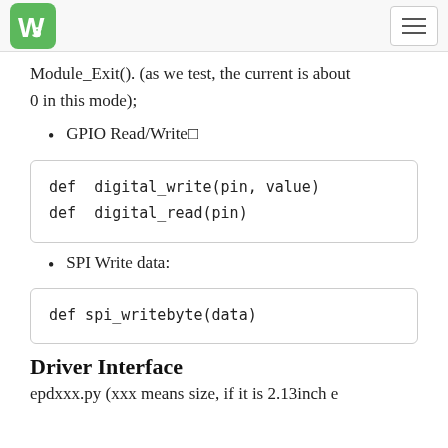WS logo and navigation
Module_Exit(). (as we test, the current is about 0 in this mode);
GPIO Read/Write□
def  digital_write(pin, value)
def  digital_read(pin)
SPI Write data:
def spi_writebyte(data)
Driver Interface
epdxxx.py (xxx means size, if it is 2.13inch e